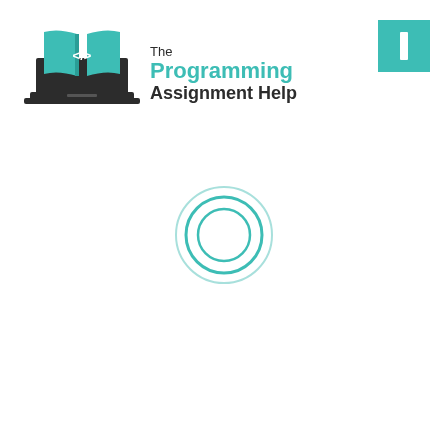[Figure (logo): The Programming Assignment Help logo: a laptop with an open book showing </> symbol in teal, with text 'The Programming Assignment Help' in dark and teal colors]
[Figure (other): A teal square button with a white vertical rectangle/bar icon in the top-right corner]
[Figure (other): A loading spinner: two concentric circles in teal color in the center of the page]